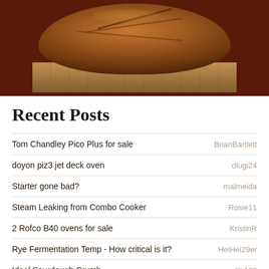[Figure (photo): Top portion of a round artisan sourdough bread loaf on a wooden cutting board, shown against a dark brown background banner.]
Recent Posts
Tom Chandley Pico Plus for sale — BrianBartlett
doyon piz3 jet deck oven — dlugi24
Starter gone bad? — malmeida
Steam Leaking from Combo Cooker — Rosie11
2 Rofco B40 ovens for sale — KristinR
Rye Fermentation Temp - How critical is it? — HeiHei29er
Ideal Sourdough Crumb — Kk123
Wrapped Lievto Madre's linen wrap is very... — schan128